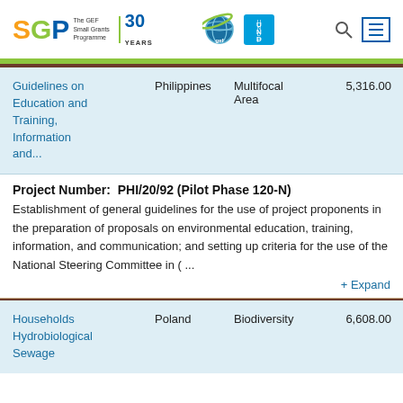SGP The GEF Small Grants Programme 30 YEARS | gef | UNDP
| Title | Country | Focal Area | Amount |
| --- | --- | --- | --- |
| Guidelines on Education and Training, Information and... | Philippines | Multifocal Area | 5,316.00 |
| Households Hydrobiological Sewage | Poland | Biodiversity | 6,608.00 |
Project Number:  PHI/20/92 (Pilot Phase 120-N)
Establishment of general guidelines for the use of project proponents in the preparation of proposals on environmental education, training, information, and communication; and setting up criteria for the use of the National Steering Committee in ( ...
+ Expand